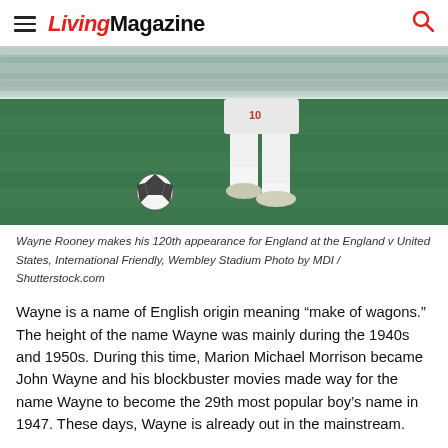Living Magazine
[Figure (photo): Soccer player in white England kit number 10 dribbling a football on green grass pitch, lower body visible]
Wayne Rooney makes his 120th appearance for England at the England v United States, International Friendly, Wembley Stadium Photo by MDI / Shutterstock.com
Wayne is a name of English origin meaning “make of wagons.” The height of the name Wayne was mainly during the 1940s and 1950s. During this time, Marion Michael Morrison became John Wayne and his blockbuster movies made way for the name Wayne to become the 29th most popular boy’s name in 1947. These days, Wayne is already out in the mainstream.